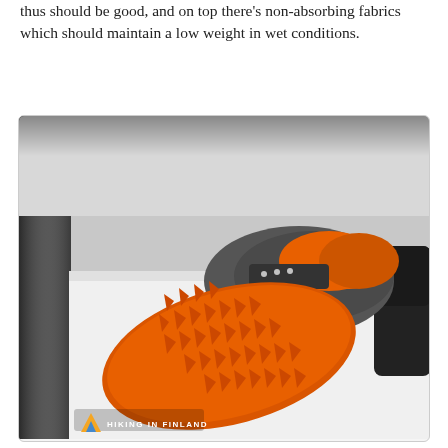thus should be good, and on top there's non-absorbing fabrics which should maintain a low weight in wet conditions.
[Figure (photo): Orange and gray trail running shoe displayed on a white surface, showing the bottom sole with orange lugs/spikes facing up, and another shoe partially visible in the background. A 'Hiking in Finland' logo watermark appears in the bottom-left corner.]